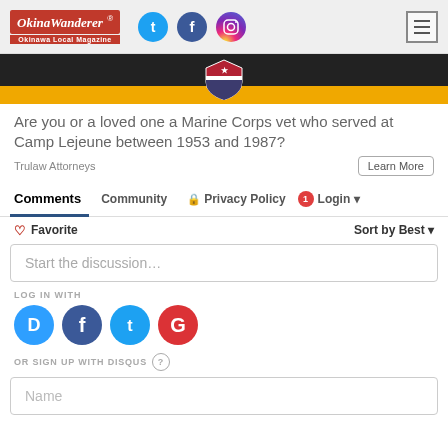[Figure (screenshot): OkinaWanderer website header with logo, social media icons (Twitter, Facebook, Instagram), and hamburger menu button]
[Figure (photo): Dark banner with American flag shield graphic and yellow/gold strip at bottom]
Are you or a loved one a Marine Corps vet who served at Camp Lejeune between 1953 and 1987?
Trulaw Attorneys
Learn More
Comments
Community
Privacy Policy
1
Login
Favorite
Sort by Best
Start the discussion…
LOG IN WITH
[Figure (infographic): Login icons: Disqus (D), Facebook (f), Twitter bird, Google (G) colored circles]
OR SIGN UP WITH DISQUS
Name